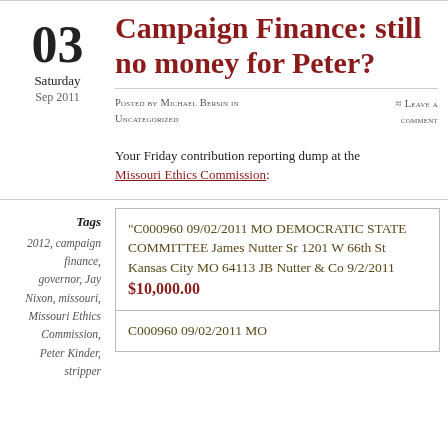Campaign Finance: still no money for Peter?
Posted by Michael Bersin in Uncategorized ≈ Leave a comment
Your Friday contribution reporting dump at the Missouri Ethics Commission:
Tags
2012, campaign finance, governor, Jay Nixon, missouri, Missouri Ethics Commission, Peter Kinder, stripper
"C000960 09/02/2011 MO DEMOCRATIC STATE COMMITTEE James Nutter Sr 1201 W 66th St Kansas City MO 64113 JB Nutter & Co 9/2/2011 $10,000.00
C000960 09/02/2011 MO